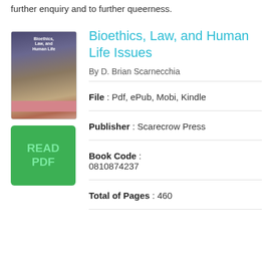further enquiry and to further queerness.
[Figure (illustration): Book cover of 'Bioethics, Law, and Human Life Issues' showing a classical statue figure with dark tones and a pink stripe at the bottom.]
[Figure (other): Green button with text 'READ PDF']
Bioethics, Law, and Human Life Issues
By D. Brian Scarnecchia
File : Pdf, ePub, Mobi, Kindle
Publisher : Scarecrow Press
Book Code : 0810874237
Total of Pages : 460